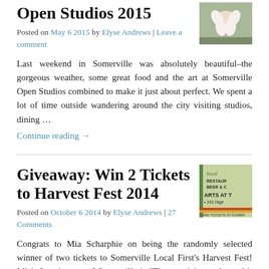Open Studios 2015
Posted on May 6 2015 by Elyse Andrews | Leave a comment
[Figure (photo): Flower photo thumbnail for Open Studios 2015 post]
Last weekend in Somerville was absolutely beautiful–the gorgeous weather, some great food and the art at Somerville Open Studios combined to make it just about perfect. We spent a lot of time outside wandering around the city visiting studios, dining …
Continue reading →
Giveaway: Win 2 Tickets to Harvest Fest 2014
Posted on October 6 2014 by Elyse Andrews | 27 Comments
[Figure (photo): Harvest Fest 2014 event poster thumbnail showing local restaurant beer and arts at 191 High... and tickets at Somerville]
Congrats to Mia Scharphie on being the randomly selected winner of two tickets to Somerville Local First's Harvest Fest! Mia's favorite part of Somerville is "The creativity, maker spirit and craft traditions here–without sacrificing a slow food pace of life!"